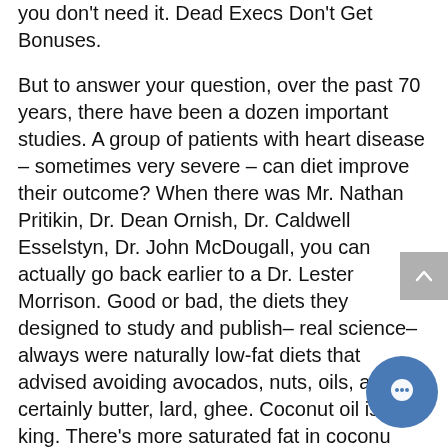you don't need it. Dead Execs Don't Get Bonuses.
But to answer your question, over the past 70 years, there have been a dozen important studies. A group of patients with heart disease – sometimes very severe – can diet improve their outcome? When there was Mr. Nathan Pritikin, Dr. Dean Ornish, Dr. Caldwell Esselstyn, Dr. John McDougall, you can actually go back earlier to a Dr. Lester Morrison. Good or bad, the diets they designed to study and publish– real science– always were naturally low-fat diets that advised avoiding avocados, nuts, oils, and certainly butter, lard, ghee. Coconut oil is the king. There's more saturated fat in coconut than even in a steak, and there's a little